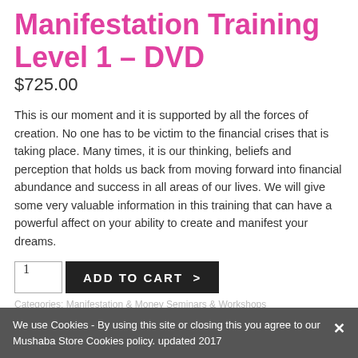Manifestation Training Level 1 – DVD
$725.00
This is our moment and it is supported by all the forces of creation. No one has to be victim to the financial crises that is taking place.  Many times, it is our thinking, beliefs and perception that holds us back from moving forward into financial abundance and success in all areas of our lives. We will give some very valuable information in this training that can have a powerful affect on your ability to create and manifest your dreams.
ADD TO CART >
♡ Add to Wishlist   + Compare
We use Cookies - By using this site or closing this you agree to our Mushaba Store Cookies policy. updated 2017